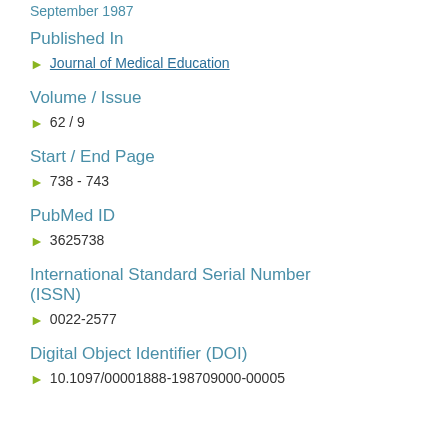September 1987
Published In
Journal of Medical Education
Volume / Issue
62 / 9
Start / End Page
738 - 743
PubMed ID
3625738
International Standard Serial Number (ISSN)
0022-2577
Digital Object Identifier (DOI)
10.1097/00001888-198709000-00005